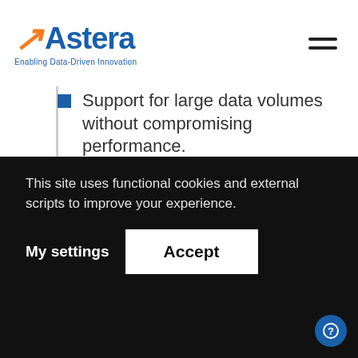Astera — Enabling Data-Driven Innovation
Support for large data volumes without compromising performance.
Drag-and-drop data mapping features.
The ability to integrate with disparate systems, including databases, cloud applications, and BI tools.
Pre-built connectors and transformations
This site uses functional cookies and external scripts to improve your experience.
My settings
Accept